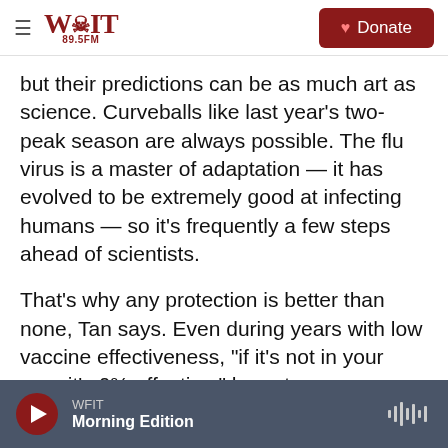WFIT 89.5FM | Donate
but their predictions can be as much art as science. Curveballs like last year's two-peak season are always possible. The flu virus is a master of adaptation — it has evolved to be extremely good at infecting humans — so it's frequently a few steps ahead of scientists.
That's why any protection is better than none, Tan says. Even during years with low vaccine effectiveness, "if it's not in your arm, it's 0% effective," he notes.
Flu shot options
WFIT — Morning Edition